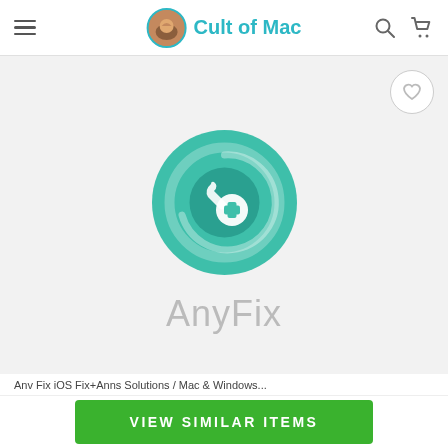Cult of Mac
[Figure (logo): AnyFix app logo: a teal/green circle with a wrench and plus sign icon, with the text 'AnyFix' below in light gray]
VIEW SIMILAR ITEMS